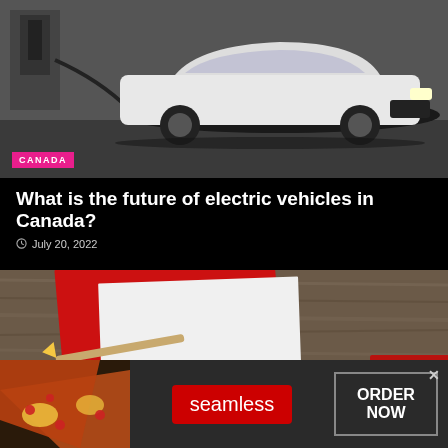[Figure (photo): White electric car (Nissan Leaf) plugged into a charging station in a parking garage, black and white tones with the car being white/light colored]
CANADA
What is the future of electric vehicles in Canada?
July 20, 2022
[Figure (photo): Close-up of a red notebook/folder and a pencil on a wooden surface]
[Figure (photo): Advertisement banner: pizza slices on left, seamless logo in center, ORDER NOW button on right]